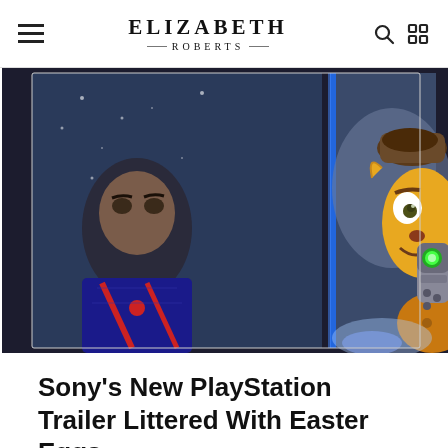ELIZABETH ROBERTS
[Figure (photo): PlayStation promotional trailer image split into two panels: left panel shows Miles Morales in Spider-Man suit in snowy scene; right panel shows Ratchet the animated cartoon cat character with robotic companion Clank, smiling at camera]
Sony's New PlayStation Trailer Littered With Easter Eggs